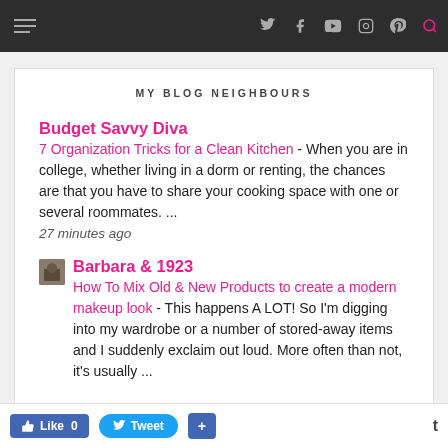[Navigation bar with hamburger menu and social icons: Twitter, Facebook, YouTube, Instagram, Pinterest, Search]
MY BLOG NEIGHBOURS
Budget Savvy Diva
7 Organization Tricks for a Clean Kitchen - When you are in college, whether living in a dorm or renting, the chances are that you have to share your cooking space with one or several roommates. ...
27 minutes ago
Barbara & 1923
How To Mix Old & New Products to create a modern makeup look - This happens A LOT! So I'm digging into my wardrobe or a number of stored-away items and I suddenly exclaim out loud. More often than not, it's usually ...
51 minutes ago
Like 0  Tweet  +  t